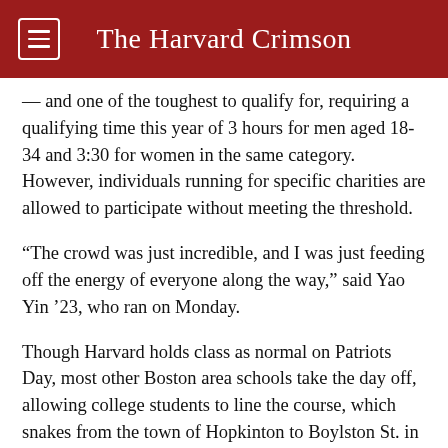The Harvard Crimson
— and one of the toughest to qualify for, requiring a qualifying time this year of 3 hours for men aged 18-34 and 3:30 for women in the same category. However, individuals running for specific charities are allowed to participate without meeting the threshold.
“The crowd was just incredible, and I was just feeding off the energy of everyone along the way,” said Yao Yin ’23, who ran on Monday.
Though Harvard holds class as normal on Patriots Day, most other Boston area schools take the day off, allowing college students to line the course, which snakes from the town of Hopkinton to Boylston St. in Boston.
“It was a once-in-a-lifetime experience,” Yin said. “It’s like the whole city went out and dartied all day.”